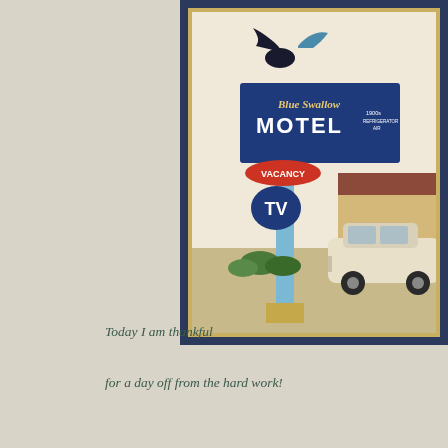[Figure (illustration): Watercolor illustration of the Blue Swallow Motel sign — a vintage Route 66 motel sign with a blue swallow bird on top, 'Blue Swallow MOTEL' lettering in blue and white, 'VACANCY' and 'TV' signs, framed in a dark navy blue mat. A vintage car and motel building appear in the background.]
Today I am thankful

for a day off from the hard work!